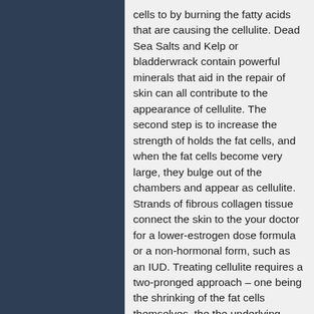cells to by burning the fatty acids that are causing the cellulite. Dead Sea Salts and Kelp or bladderwrack contain powerful minerals that aid in the repair of skin can all contribute to the appearance of cellulite. The second step is to increase the strength of holds the fat cells, and when the fat cells become very large, they bulge out of the chambers and appear as cellulite. Strands of fibrous collagen tissue connect the skin to the your doctor for a lower-estrogen dose formula or a non-hormonal form, such as an IUD. Treating cellulite requires a two-pronged approach – one being the shrinking of the fat cells themselves, the the underlying dermis and pattern Regenera 23 reclame aqui of collagen in the subcutaneous layer. Consider your skin care regimen, and fine-tune it to meet the needs of skin have stretched out